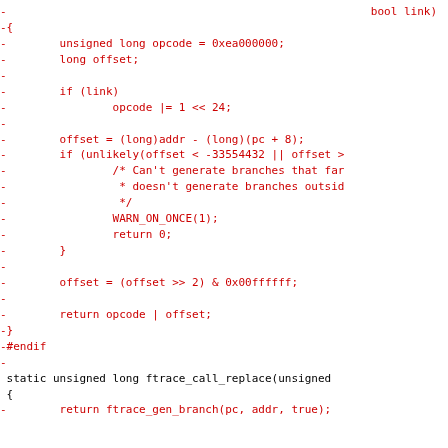[Figure (screenshot): Code diff showing deleted lines (in red with leading minus signs) of C code for ARM branch generation, followed by retained lines (in black) for ftrace_call_replace function. The deleted code includes a function body for generating ARM branch instructions, and the retained code shows the beginning of a replacement function.]